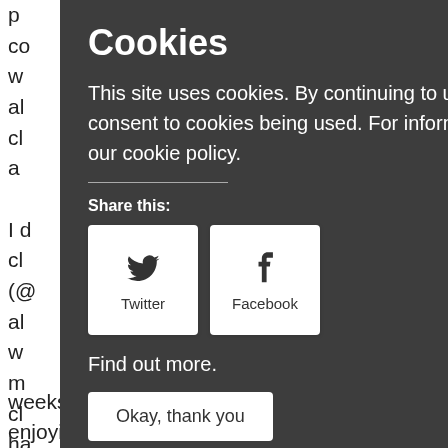p... el co... n 5 times a w... > Boxercise al... ew exercise cl... ard work a...
Cookies
This site uses cookies. By continuing to use this website you are giving consent to cookies being used. For information on cookies please read our cookie policy.
Share this:
[Figure (other): Twitter share button with bird icon]
[Figure (other): Facebook share button with f icon]
Find out more.
Okay, thank you
...the lent cl... me on twitter (@... give up al... drink and> w... ally proud of m... ed some cl... ld usually ha... with I found it a... night glass (s... over the weeks. I no longer crave alcohol and> am enjoying feeling